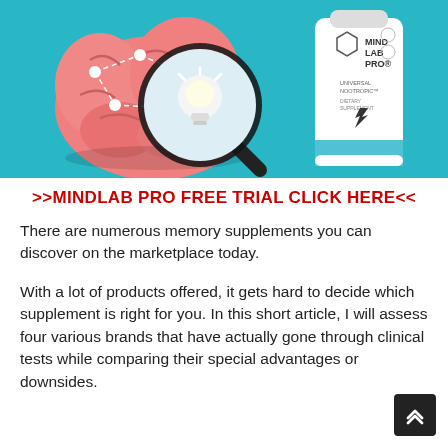[Figure (illustration): Teal/cyan background illustration showing a pink cartoon brain with white dot-and-dashed-line network overlay and a large magnifying glass with a lightbulb inside it on the left, and a white bottle of Mind Lab Pro Universal Nootropic dietary supplement on the right.]
>>MINDLAB PRO FREE TRIAL CLICK HERE<<
There are numerous memory supplements you can discover on the marketplace today.
With a lot of products offered, it gets hard to decide which supplement is right for you. In this short article, I will assess four various brands that have actually gone through clinical tests while comparing their special advantages or downsides.